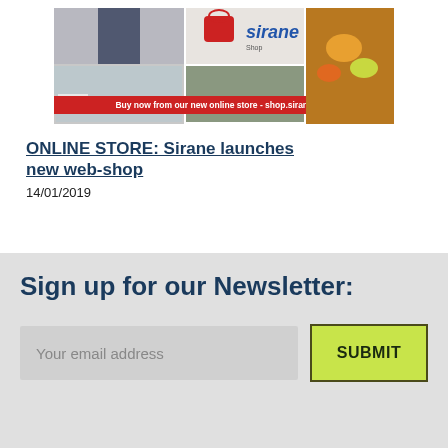[Figure (photo): Sirane Shop promotional banner showing food products, a shopping basket, and text 'Buy now from our new online store - shop.sirane.com']
ONLINE STORE: Sirane launches new web-shop
14/01/2019
Sign up for our Newsletter:
Your email address
SUBMIT